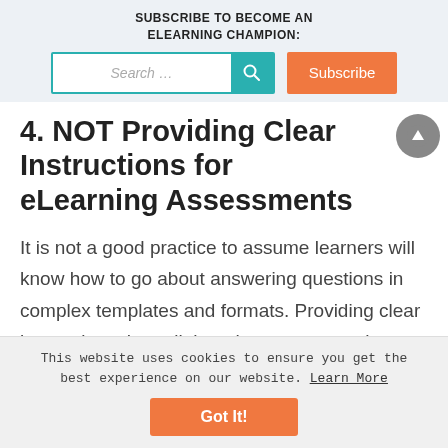SUBSCRIBE TO BECOME AN ELEARNING CHAMPION:
4. NOT Providing Clear Instructions for eLearning Assessments
It is not a good practice to assume learners will know how to go about answering questions in complex templates and formats. Providing clear instructions that tell them how to approach a
This website uses cookies to ensure you get the best experience on our website. Learn More
Got It!